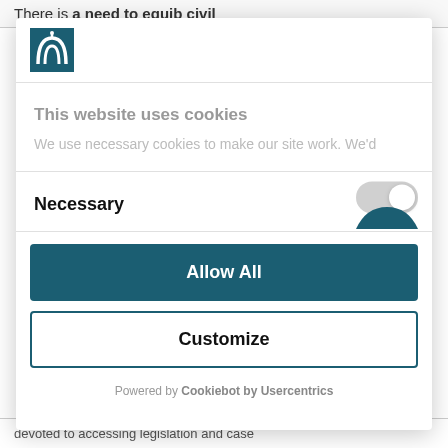There is a need to equib civil
[Figure (logo): Organization logo with teal background featuring a stylized figure/arch design]
This website uses cookies
We use necessary cookies to make our site work. We'd
Necessary
Allow All
Customize
Powered by Cookiebot by Usercentrics
devoted to accessing legislation and case